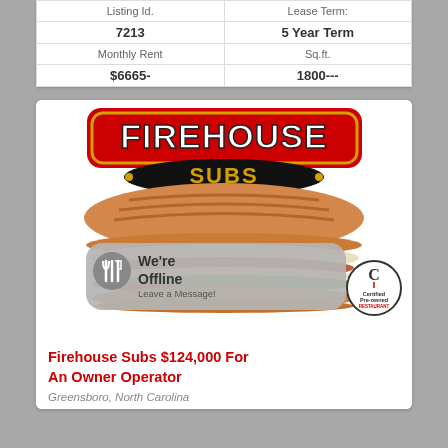| Listing Id. | Lease Term: |
| --- | --- |
| 7213 | 5 Year Term |
| Monthly Rent | Sq.ft. |
| $6665- | 1800--- |
[Figure (logo): Firehouse Subs logo with sandwich image, Certified Pre-owned Restaurant badge, and an offline chat popup overlay]
Firehouse Subs $124,000 For An Owner Operator
Greensboro, North Carolina